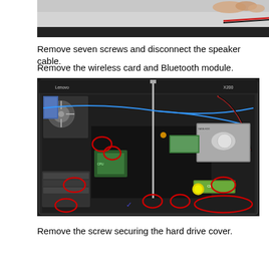[Figure (photo): Partial view of laptop internals being worked on, showing fingers holding a component at the top of the frame.]
Remove seven screws and disconnect the speaker cable.
Remove the wireless card and Bluetooth module.
[Figure (photo): Open Lenovo laptop showing internal components including fan, CPU socket, wireless card, hard drive, Bluetooth module, and card reader. Red circles highlight screws and components to be removed, and a screwdriver is inserted from the top.]
Remove the screw securing the hard drive cover.